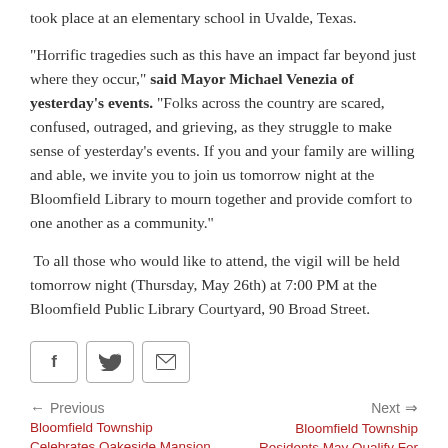took place at an elementary school in Uvalde, Texas.
“Horrific tragedies such as this have an impact far beyond just where they occur,” said Mayor Michael Venezia of yesterday’s events. “Folks across the country are scared, confused, outraged, and grieving, as they struggle to make sense of yesterday’s events. If you and your family are willing and able, we invite you to join us tomorrow night at the Bloomfield Library to mourn together and provide comfort to one another as a community.”
To all those who would like to attend, the vigil will be held tomorrow night (Thursday, May 26th) at 7:00 PM at the Bloomfield Public Library Courtyard, 90 Broad Street.
[Figure (other): Social share buttons: Facebook, Twitter, Email]
Previous | Bloomfield Township Celebrates Oakeside Mansion Reopening with Some More T...
Next | Bloomfield Township Residents May Qualify For Blue Acres Program